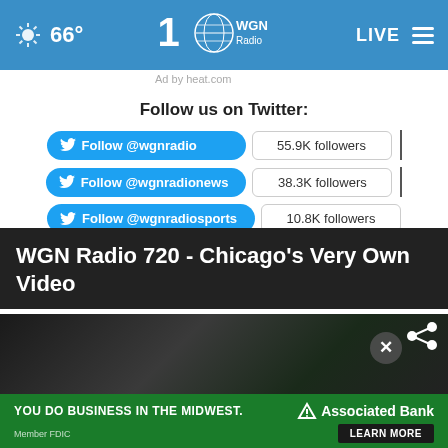66° WGN Radio LIVE
Ad by heat.com
Follow us on Twitter:
Follow @wgnradio  55.9K followers
Follow @wgnradionews  38.3K followers
Follow @wgnradiosports  10.8K followers
WGN Radio 720 - Chicago's Very Own Video
[Figure (screenshot): Video thumbnail showing dark scene with share icon and close button]
[Figure (screenshot): Associated Bank advertisement banner: YOU DO BUSINESS IN THE MIDWEST. Associated Bank. Member FDIC. LEARN MORE]